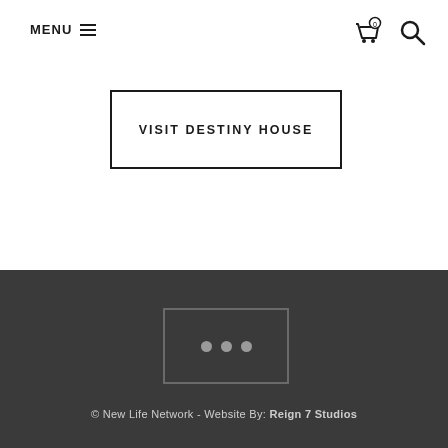MENU
VISIT DESTINY HOUSE
[Figure (other): Three dots icon button in a rounded rectangle box, dark footer background]
© New Life Network - Website By: Reign 7 Studios